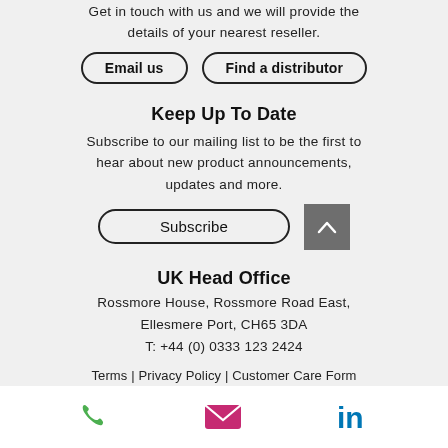Get in touch with us and we will provide the details of your nearest reseller.
Email us
Find a distributor
Keep Up To Date
Subscribe to our mailing list to be the first to hear about new product announcements, updates and more.
Subscribe
UK Head Office
Rossmore House, Rossmore Road East, Ellesmere Port, CH65 3DA
T: +44 (0) 0333 123 2424
Terms | Privacy Policy | Customer Care Form
© Copyright Spaceforme 2022